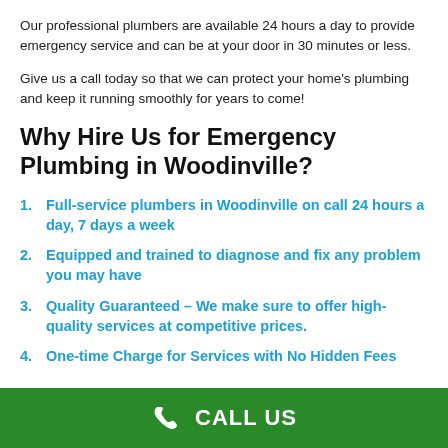Our professional plumbers are available 24 hours a day to provide emergency service and can be at your door in 30 minutes or less.
Give us a call today so that we can protect your home's plumbing and keep it running smoothly for years to come!
Why Hire Us for Emergency Plumbing in Woodinville?
Full-service plumbers in Woodinville on call 24 hours a day, 7 days a week
Equipped and trained to diagnose and fix any problem you may have
Quality Guaranteed – We make sure to offer high-quality services at competitive prices.
One-time Charge for Services with No Hidden Fees
CALL US